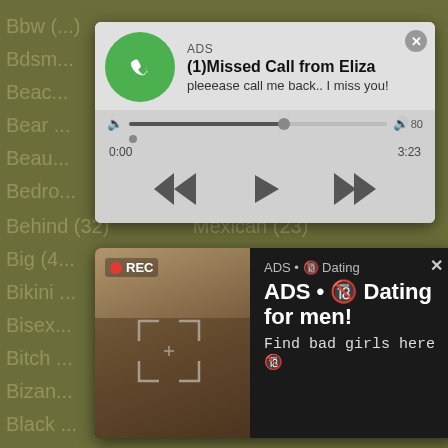[Figure (screenshot): Background website listing with category links and counts on olive/dark yellow-green background]
[Figure (screenshot): Audio ad popup: missed call from Eliza with phone icon, audio player with progress bar and playback controls, ADS label]
[Figure (screenshot): Dating ad popup with REC badge photo of woman taking selfie, dark background, text: ADS Dating for men! Find bad girls here]